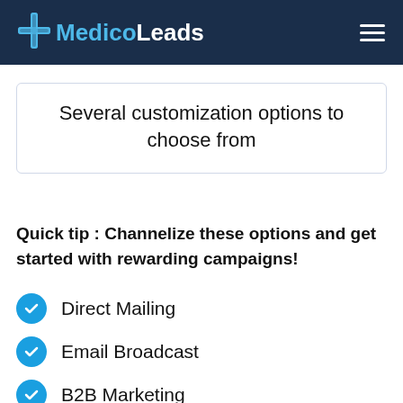MedicoLeads
Several customization options to choose from
Quick tip : Channelize these options and get started with rewarding campaigns!
Direct Mailing
Email Broadcast
B2B Marketing